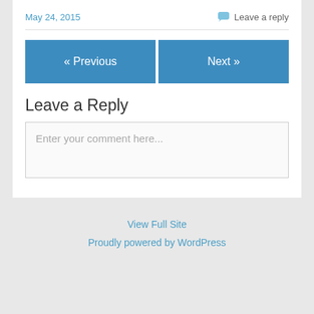May 24, 2015
Leave a reply
« Previous
Next »
Leave a Reply
Enter your comment here...
View Full Site
Proudly powered by WordPress